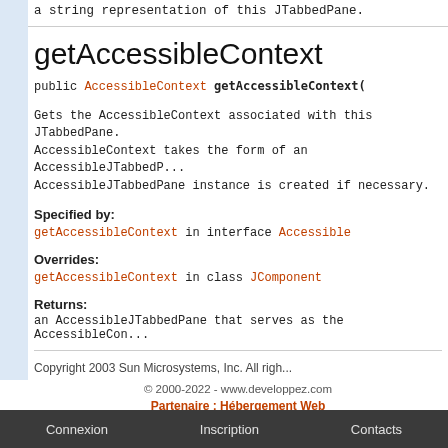a string representation of this JTabbedPane.
getAccessibleContext
public AccessibleContext getAccessibleContext(
Gets the AccessibleContext associated with this JTabbedPane. The AccessibleContext takes the form of an AccessibleJTabbedPane. A new AccessibleJTabbedPane instance is created if necessary.
Specified by:
getAccessibleContext in interface Accessible
Overrides:
getAccessibleContext in class JComponent
Returns:
an AccessibleJTabbedPane that serves as the AccessibleContext
Copyright 2003 Sun Microsystems, Inc. All rights reserved.
© 2000-2022 - www.developpez.com
Partenaire : Hébergement Web
Connexion | Inscription | Contacts